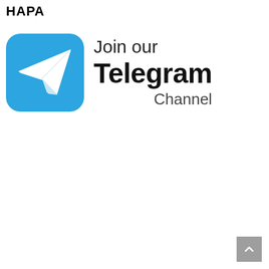НАРА
[Figure (logo): Telegram channel promotional graphic with Telegram logo (blue rounded square with white paper plane icon) and text 'Join our Telegram Channel']